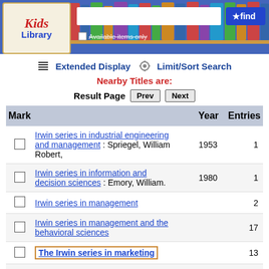[Figure (screenshot): Kids Library logo and search banner with colorful book spines]
Extended Display   Limit/Sort Search
Nearby Titles are:
Result Page   Prev   Next
| Mark |  | Year | Entries |
| --- | --- | --- | --- |
| ☐ | Irwin series in industrial engineering and management : Spriegel, William Robert, | 1953 | 1 |
| ☐ | Irwin series in information and decision sciences : Emory, William. | 1980 | 1 |
| ☐ | Irwin series in management |  | 2 |
| ☐ | Irwin series in management and the behavioral sciences |  | 17 |
| ☐ | The Irwin series in marketing |  | 13 |
| ☐ | Irwin series in production operations management |  | 2 |